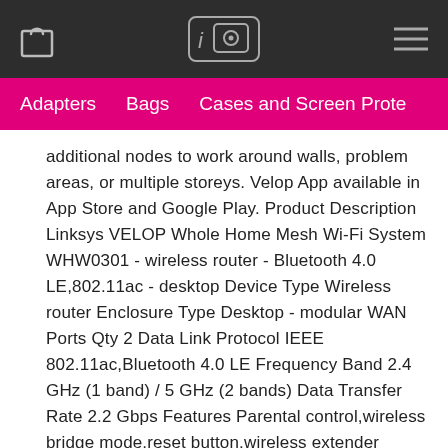[Shopping bag icon] [iQ icon] [Menu icon]
Adapters   Bags   Cases and Screen Prote...
additional nodes to work around walls, problem areas, or multiple storeys. Velop App available in App Store and Google Play. Product Description Linksys VELOP Whole Home Mesh Wi-Fi System WHW0301 - wireless router - Bluetooth 4.0 LE,802.11ac - desktop Device Type Wireless router Enclosure Type Desktop - modular WAN Ports Qty 2 Data Link Protocol IEEE 802.11ac,Bluetooth 4.0 LE Frequency Band 2.4 GHz (1 band) / 5 GHz (2 bands) Data Transfer Rate 2.2 Gbps Features Parental control,wireless bridge mode,reset button,wireless extender mode,MU-MIMO technology,Spot Finder Technology,beamforming technology,Tri-Band Compliant Standards IEEE 802.11ac Dimensions (WxDxH) 7.87 cm x 7.87 cm x 18.5 cm System